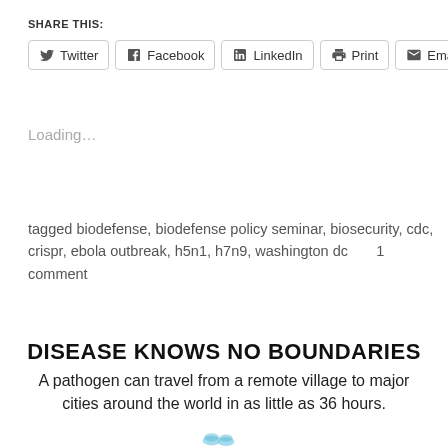SHARE THIS:
Twitter  Facebook  LinkedIn  Print  Email
Loading…
tagged biodefense, biodefense policy seminar, biosecurity, cdc, crispr, ebola outbreak, h5n1, h7n9, washington dc      1 comment
DISEASE KNOWS NO BOUNDARIES
A pathogen can travel from a remote village to major cities around the world in as little as 36 hours.